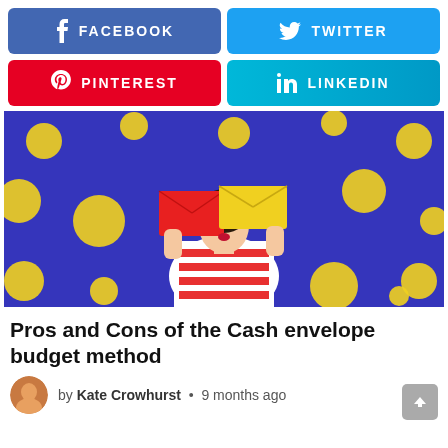[Figure (infographic): Four social share buttons: Facebook (blue), Twitter (light blue), Pinterest (red), LinkedIn (light blue gradient)]
[Figure (photo): Woman in red-and-white striped outfit holding red and yellow envelopes over her eyes, against a blue background with yellow polka dots]
Pros and Cons of the Cash envelope budget method
by Kate Crowhurst • 9 months ago